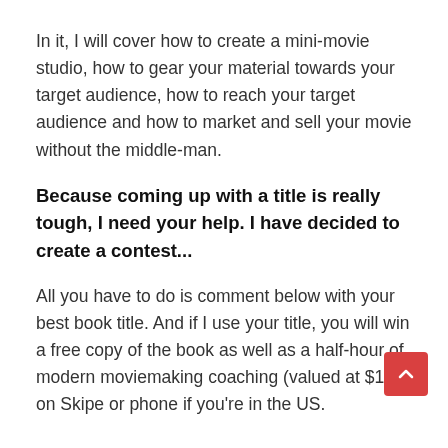In it, I will cover how to create a mini-movie studio, how to gear your material towards your target audience, how to reach your target audience and how to market and sell your movie without the middle-man.
Because coming up with a title is really tough, I need your help. I have decided to create a contest...
All you have to do is comment below with your best book title. And if I use your title, you will win a free copy of the book as well as a half-hour of modern moviemaking coaching (valued at $150) on Skipe or phone if you're in the US.